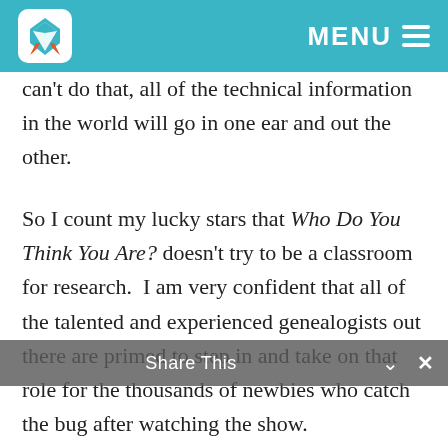MENU ≡
can't do that, all of the technical information in the world will go in one ear and out the other.
So I count my lucky stars that Who Do You Think You Are? doesn't try to be a classroom for research.  I am very confident that all of the talented and experienced genealogists out there are primed to step in and take on that role for the thousands of newbies who catch the bug after watching the show.
By the way, Kudos to Lisa Kudrow and NBC for including as much history, documents and archive visits as they do in the series.  If you listen carefully to Lisa's interview, (on Genealogy Gems Podcast Episode 81 , Genealogy Gems Premium Episode 41, and in the video